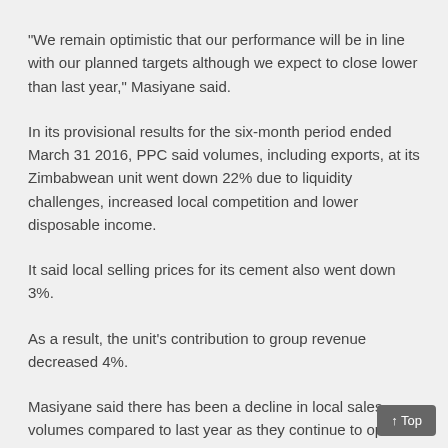“We remain optimistic that our performance will be in line with our planned targets although we expect to close lower than last year,” Masiyane said.
In its provisional results for the six-month period ended March 31 2016, PPC said volumes, including exports, at its Zimbabwean unit went down 22% due to liquidity challenges, increased local competition and lower disposable income.
It said local selling prices for its cement also went down 3%.
As a result, the unit’s contribution to group revenue decreased 4%.
Masiyane said there has been a decline in local sales volumes compared to last year as they continue to operate in a depressed economy.
“This has been further exacerbated by imports from neighbourin